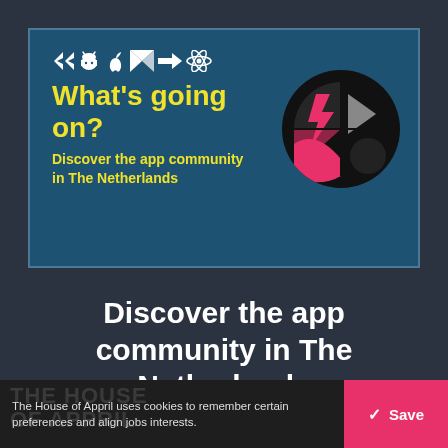[Figure (illustration): Banner image with dark teal background showing tech/app community icons (Flutter, Android, Apple, Kotlin, React, etc.) in white, bold yellow text 'What's going on?' and 'Discover the app community in The Netherlands', with a circular black logo on the right featuring pink/red lightning bolt and gray flag shapes]
Discover the app community in The Netherlands
The House of Appril uses cookies to remember certain preferences and align jobs interests.